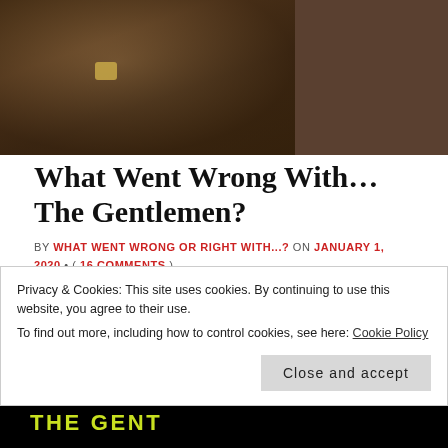[Figure (photo): Top portion of a photo showing two people side by side; left side shows a person in a brown checked suit with a lapel pin; right side shows a person in dark clothing against a dark background]
What Went Wrong With… The Gentlemen?
BY WHAT WENT WRONG OR RIGHT WITH...? ON JANUARY 1, 2020 • ( 16 COMMENTS )
Guy Ritchie is back with his latest film The Gentlemen, which on the surface, purports to be a back-to-his-roots offering in the same vein as Lock, Stock And Two Smoking Barrels or Snatch. The trailer and promotion seems to be completely misleading
Privacy & Cookies: This site uses cookies. By continuing to use this website, you agree to their use.
To find out more, including how to control cookies, see here: Cookie Policy
Close and accept
[Figure (photo): Bottom strip of a dark image with yellow/green text, appears to be movie title card]